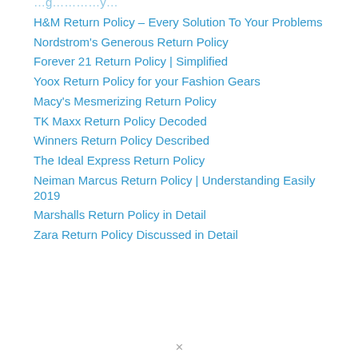H&M Return Policy – Every Solution To Your Problems
Nordstrom's Generous Return Policy
Forever 21 Return Policy | Simplified
Yoox Return Policy for your Fashion Gears
Macy's Mesmerizing Return Policy
TK Maxx Return Policy Decoded
Winners Return Policy Described
The Ideal Express Return Policy
Neiman Marcus Return Policy | Understanding Easily  2019
Marshalls Return Policy in Detail
Zara Return Policy Discussed in Detail